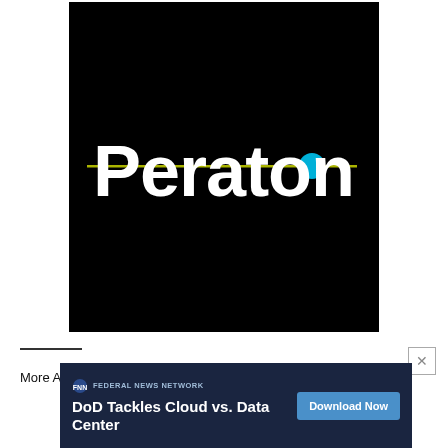[Figure (logo): Peraton company logo — white text 'Peraton' on black background with a horizontal yellow-green line and cyan/blue dot accent through the text]
More ARPA-H information can be accessed at: link and https...
[Figure (other): Advertisement banner: 'DoD Tackles Cloud vs. Data Center' from Federal News Network with a 'Download Now' button]